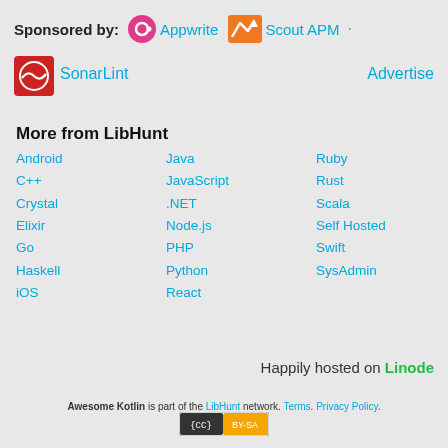Sponsored by: Appwrite · Scout APM
[Figure (logo): SonarLint logo — red circle with waveform]
SonarLint
Advertise
More from LibHunt
Android
Java
Ruby
C++
JavaScript
Rust
Crystal
.NET
Scala
Elixir
Node.js
Self Hosted
Go
PHP
Swift
Haskell
Python
SysAdmin
iOS
React
Happily hosted on Linode
Awesome Kotlin is part of the LibHunt network. Terms. Privacy Policy.
[Figure (logo): Creative Commons BY-SA license badge]